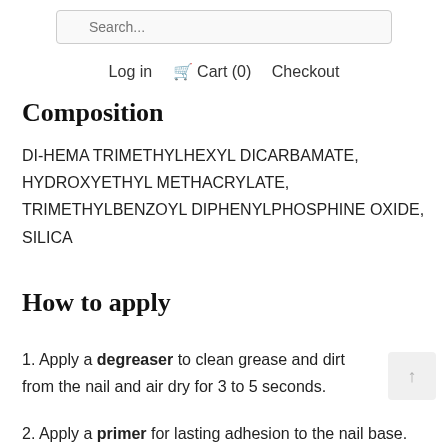Search...
Log in  Cart (0)  Checkout
Composition
DI-HEMA TRIMETHYLHEXYL DICARBAMATE, HYDROXYETHYL METHACRYLATE, TRIMETHYLBENZOYL DIPHENYLPHOSPHINE OXIDE, SILICA
How to apply
1. Apply a degreaser to clean grease and dirt from the nail and air dry for 3 to 5 seconds.
2. Apply a primer for lasting adhesion to the nail base. Air dry for 1 minute.